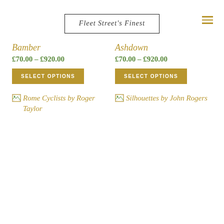Fleet Street's Finest
Bamber
£70.00 – £920.00
SELECT OPTIONS
Ashdown
£70.00 – £920.00
SELECT OPTIONS
[Figure (photo): Broken image placeholder for 'Rome Cyclists by Roger Taylor']
[Figure (photo): Broken image placeholder for 'Silhouettes by John Rogers']